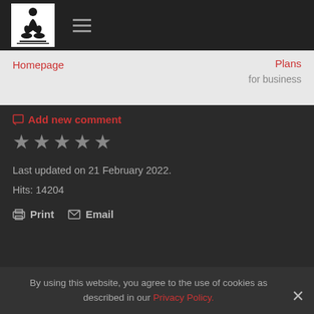Homepage | Plans for business
Add new comment
★ ★ ★ ★ ★
Last updated on 21 February 2022.
Hits: 14204
Print  Email
By using this website, you agree to the use of cookies as described in our Privacy Policy.